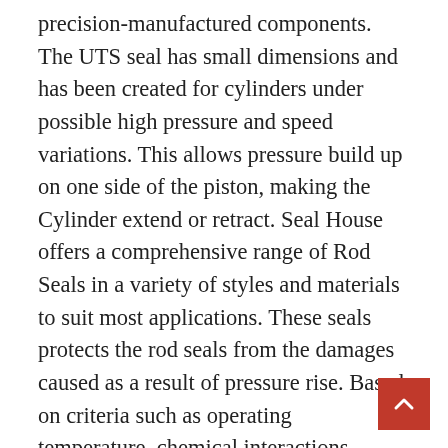precision-manufactured components. The UTS seal has small dimensions and has been created for cylinders under possible high pressure and speed variations. This allows pressure build up on one side of the piston, making the Cylinder extend or retract. Seal House offers a comprehensive range of Rod Seals in a variety of styles and materials to suit most applications. These seals protects the rod seals from the damages caused as a result of pressure rise. Based on criteria such as operating temperature, chemical interactions, pressure and fluid types, we select the materials that can handle each environment best. An elastomer which provides dynamic and static sealing against the shaft. A sealing lip has an edge which is